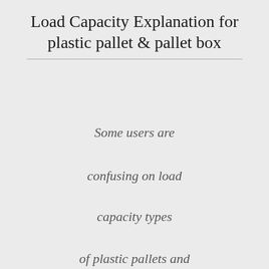Load Capacity Explanation for plastic pallet & pallet box
Some users are
confusing on load
capacity types
of plastic pallets and